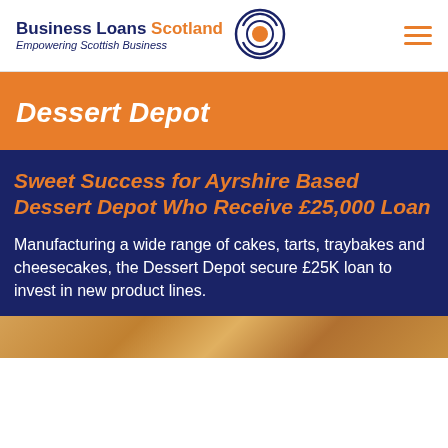Business Loans Scotland – Empowering Scottish Business
Dessert Depot
Sweet Success for Ayrshire Based Dessert Depot Who Receive £25,000 Loan
Manufacturing a wide range of cakes, tarts, traybakes and cheesecakes, the Dessert Depot secure £25K loan to invest in new product lines.
[Figure (photo): Close-up photo of baked goods / desserts at the bottom of the page]